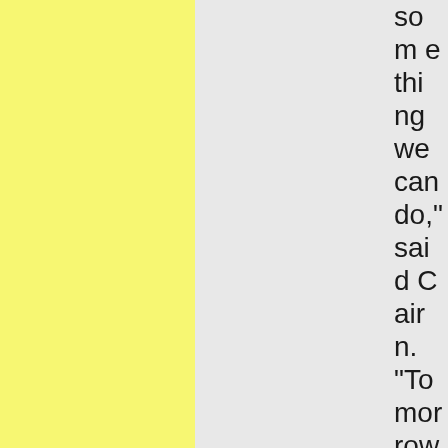something we can do," said Cairn. "Tomorrow my father will go hunting for a feast. A